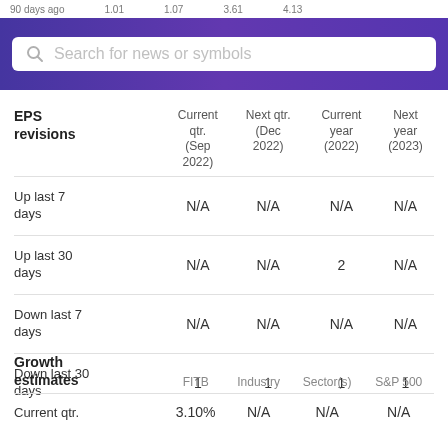90 days ago   1.01   1.07   3.61   4.13
[Figure (screenshot): Search bar with magnifying glass icon and placeholder text 'Search for news or symbols' on purple gradient background]
| EPS revisions | Current qtr. (Sep 2022) | Next qtr. (Dec 2022) | Current year (2022) | Next year (2023) |
| --- | --- | --- | --- | --- |
| Up last 7 days | N/A | N/A | N/A | N/A |
| Up last 30 days | N/A | N/A | 2 | N/A |
| Down last 7 days | N/A | N/A | N/A | N/A |
| Down last 30 days | 1 | 1 | 1 | 1 |
| Growth estimates | FITB | Industry | Sector(s) | S&P 500 |
| --- | --- | --- | --- | --- |
| Current qtr. | 3.10% | N/A | N/A | N/A |